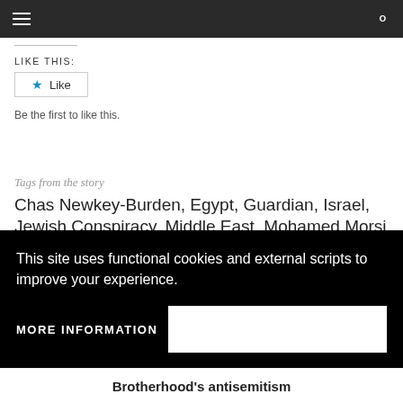LIKE THIS:
Like
Be the first to like this.
Tags from the story
Chas Newkey-Burden, Egypt, Guardian, Israel, Jewish Conspiracy, Middle East, Mohamed Morsi
This site uses functional cookies and external scripts to improve your experience.
MORE INFORMATION
Brotherhood's antisemitism